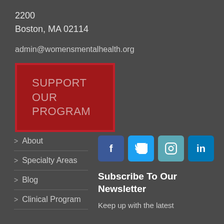2200
Boston, MA 02114
admin@womensmentalhealth.org
SUPPORT OUR PROGRAM
> About
> Specialty Areas
> Blog
> Clinical Program
[Figure (infographic): Social media icons: Facebook (blue), Twitter (light blue), Instagram (teal), LinkedIn (blue)]
Subscribe To Our Newsletter
Keep up with the latest